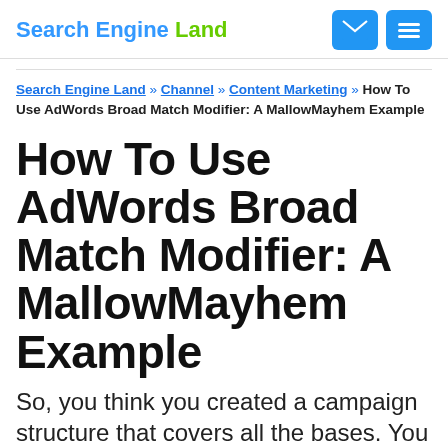Search Engine Land
Search Engine Land » Channel » Content Marketing » How To Use AdWords Broad Match Modifier: A MallowMayhem Example
How To Use AdWords Broad Match Modifier: A MallowMayhem Example
So, you think you created a campaign structure that covers all the bases. You added broad, phrase, and exact match